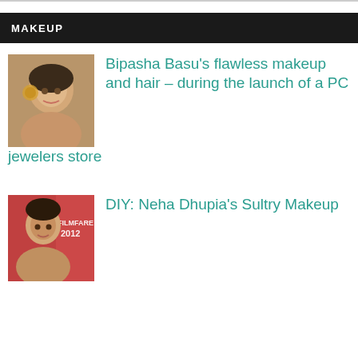MAKEUP
[Figure (photo): Photo of Bipasha Basu smiling, wearing large earrings]
Bipasha Basu's flawless makeup and hair – during the launch of a PC jewelers store
[Figure (photo): Photo of Neha Dhupia at Filmfare 2012 event with red background]
DIY: Neha Dhupia's Sultry Makeup